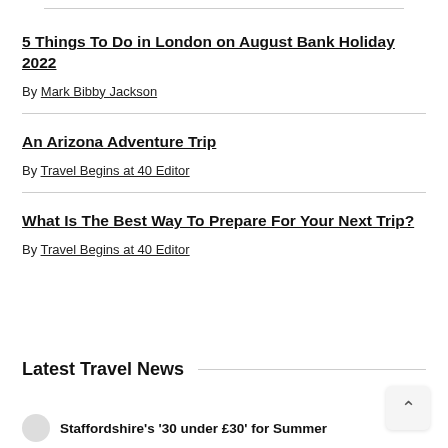5 Things To Do in London on August Bank Holiday 2022
By Mark Bibby Jackson
An Arizona Adventure Trip
By Travel Begins at 40 Editor
What Is The Best Way To Prepare For Your Next Trip?
By Travel Begins at 40 Editor
Latest Travel News
Staffordshire's '30 under £30' for Summer